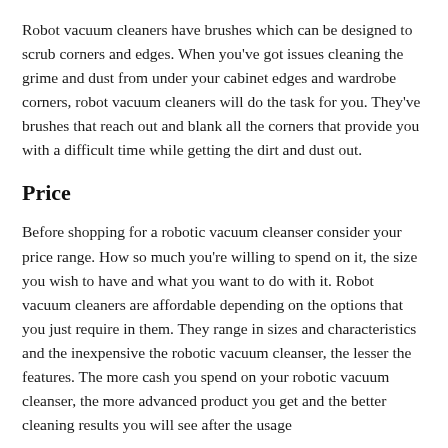Robot vacuum cleaners have brushes which can be designed to scrub corners and edges. When you've got issues cleaning the grime and dust from under your cabinet edges and wardrobe corners, robot vacuum cleaners will do the task for you. They've brushes that reach out and blank all the corners that provide you with a difficult time while getting the dirt and dust out.
Price
Before shopping for a robotic vacuum cleanser consider your price range. How so much you're willing to spend on it, the size you wish to have and what you want to do with it. Robot vacuum cleaners are affordable depending on the options that you just require in them. They range in sizes and characteristics and the inexpensive the robotic vacuum cleanser, the lesser the features. The more cash you spend on your robotic vacuum cleanser, the more advanced product you get and the better cleaning results you will see after the usage